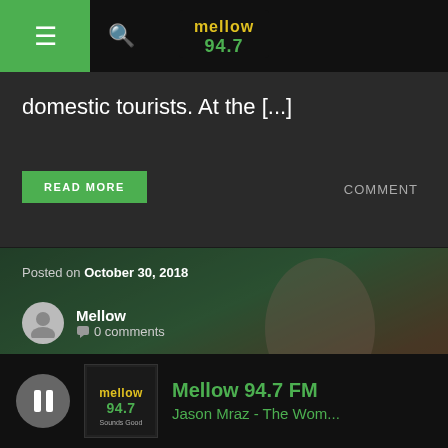Mellow 94.7 FM - navigation bar with hamburger menu, search icon, and logo
domestic tourists. At the [...]
READ MORE
COMMENT
Posted on October 30, 2018
Mellow
0 comments
Rihanna shows off her gorgeous curves
guestofaguest.com Rihanna just demonstrated recently that she slays all day! In another Instagram picture, the artist modeled in some attractive Cherry Blossom-hued unmentionables and in addition a gigantic shroud as a feature of her Savage x Fenty line.
Mellow 94.7 FM
Jason Mraz - The Wom...